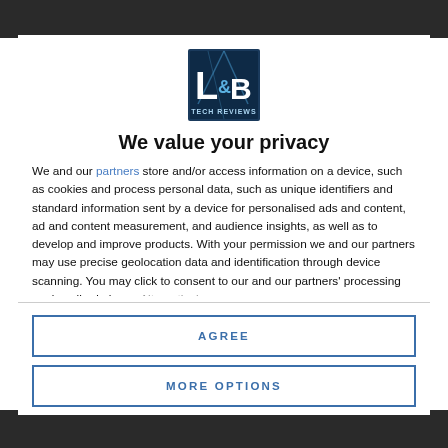[Figure (logo): L&B Tech Reviews logo - blue square with L&B letters and 'TECH REVIEWS' text]
We value your privacy
We and our partners store and/or access information on a device, such as cookies and process personal data, such as unique identifiers and standard information sent by a device for personalised ads and content, ad and content measurement, and audience insights, as well as to develop and improve products. With your permission we and our partners may use precise geolocation data and identification through device scanning. You may click to consent to our and our partners' processing as described above. Alternatively you may access more
AGREE
MORE OPTIONS